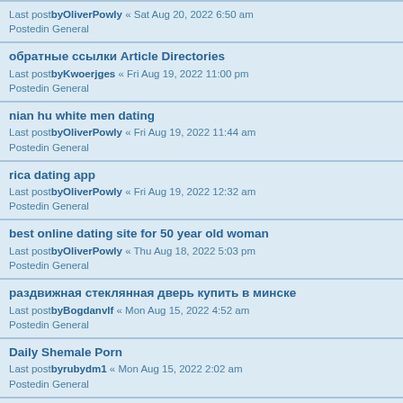Last postbyOliverPowly « Sat Aug 20, 2022 6:50 am
Postedin General
обратные ссылки Article Directories
Last postbyKwoerjges « Fri Aug 19, 2022 11:00 pm
Postedin General
nian hu white men dating
Last postbyOliverPowly « Fri Aug 19, 2022 11:44 am
Postedin General
rica dating app
Last postbyOliverPowly « Fri Aug 19, 2022 12:32 am
Postedin General
best online dating site for 50 year old woman
Last postbyOliverPowly « Thu Aug 18, 2022 5:03 pm
Postedin General
раздвижная стеклянная дверь купить в минске
Last postbyBogdanvlf « Mon Aug 15, 2022 4:52 am
Postedin General
Daily Shemale Porn
Last postbyrubydm1 « Mon Aug 15, 2022 2:02 am
Postedin General
подставка под диспенсер
Last postbySamantaipj « Sun Aug 14, 2022 10:54 pm
Postedin General
раздвижные двери в душевую кабину
Last postbyBogdansos « Sun Aug 14, 2022 4:50 pm
Postedin General